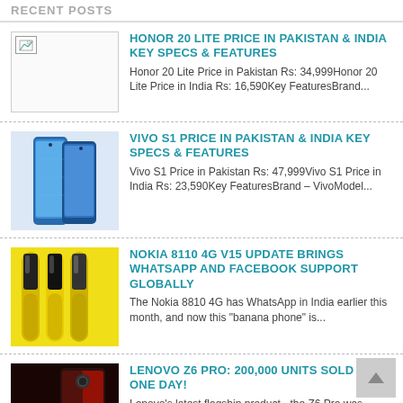RECENT POSTS
HONOR 20 LITE PRICE IN PAKISTAN & INDIA KEY SPECS & FEATURES — Honor 20 Lite Price in Pakistan Rs: 34,999Honor 20 Lite Price in India Rs: 16,590Key FeaturesBrand...
VIVO S1 PRICE IN PAKISTAN & INDIA KEY SPECS & FEATURES — Vivo S1 Price in Pakistan Rs: 47,999Vivo S1 Price in India Rs: 23,590Key FeaturesBrand – VivoModel...
NOKIA 8110 4G V15 UPDATE BRINGS WHATSAPP AND FACEBOOK SUPPORT GLOBALLY — The Nokia 8810 4G has WhatsApp in India earlier this month, and now this "banana phone" is...
LENOVO Z6 PRO: 200,000 UNITS SOLD IN ONE DAY! — Lenovo's latest flagship product - the Z6 Pro was announced on April 23 and seems to be